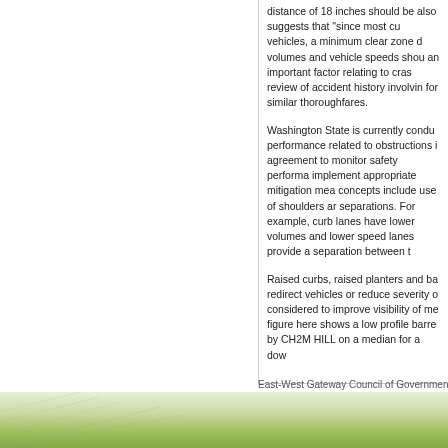distance of 18 inches should be also suggests that "since most cu vehicles, a minimum clear zone d volumes and vehicle speeds shou an important factor relating to cra review of accident history involvin for similar thoroughfares.
Washington State is currently condu performance related to obstructions i agreement to monitor safety performa implement appropriate mitigation mea concepts include use of shoulders ar separations. For example, curb lanes have lower volumes and lower speed lanes provide a separation between t
Raised curbs, raised planters and ba redirect vehicles or reduce severity o considered to improve visibility of me figure here shows a low profile barre by CH2M HILL on a median for a dow
Last Updated on Tuesday, 10 March
East-West Gateway Council of Governments |